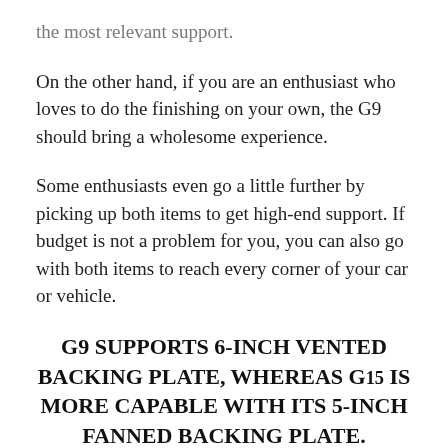the most relevant support.
On the other hand, if you are an enthusiast who loves to do the finishing on your own, the G9 should bring a wholesome experience.
Some enthusiasts even go a little further by picking up both items to get high-end support. If budget is not a problem for you, you can also go with both items to reach every corner of your car or vehicle.
G9 SUPPORTS 6-INCH VENTED BACKING PLATE, WHEREAS G15 IS MORE CAPABLE WITH ITS 5-INCH FANNED BACKING PLATE.
One may argue with the fact that backing plates do